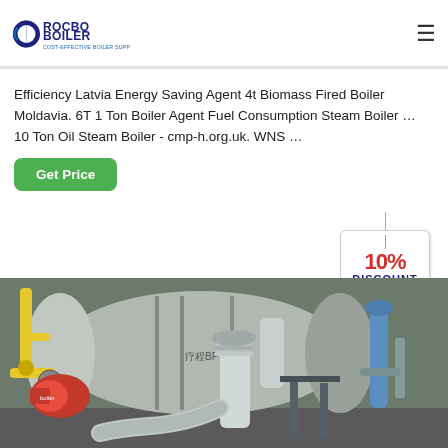ROCBO BOILER - COST-EFFECTIVE BOILER SUPPLIER
Efficiency Latvia Energy Saving Agent 4t Biomass Fired Boiler Moldavia. 6T 1 Ton Boiler Agent Fuel Consumption Steam Boiler ... 10 Ton Oil Steam Boiler - cmp-h.org.uk. WNS ...
[Figure (other): Green 'Get Price' button]
[Figure (other): 10% DISCOUNT tag/badge hanging]
[Figure (photo): Industrial boiler system photo showing a large horizontal fire-tube boiler with yellow gas pipes on the left, red burner assembly, stainless steel exhaust pipes, and blue pressure vessel on the right, installed in an industrial building.]